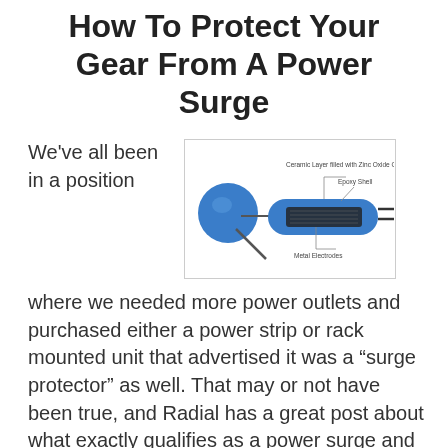How To Protect Your Gear From A Power Surge
We've all been in a position
[Figure (schematic): Labeled diagram of a varistor/MOV component showing a blue circular disc and blue oblong body with metal electrodes, labeled with: Ceramic Layer filled with Zinc Oxide Grains, Epoxy Shell, Metal Electrodes]
where we needed more power outlets and purchased either a power strip or rack mounted unit that advertised it was a “surge protector” as well. That may or not have been true, and Radial has a great post about what exactly qualifies as a power surge and how to [...]